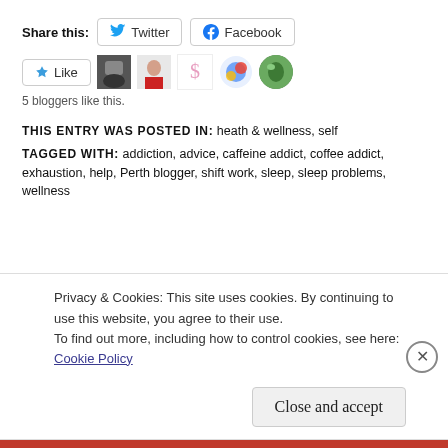Share this:
Twitter  Facebook
Like
5 bloggers like this.
THIS ENTRY WAS POSTED IN: heath & wellness, self
TAGGED WITH: addiction, advice, caffeine addict, coffee addict, exhaustion, help, Perth blogger, shift work, sleep, sleep problems, wellness
Privacy & Cookies: This site uses cookies. By continuing to use this website, you agree to their use.
To find out more, including how to control cookies, see here: Cookie Policy
Close and accept